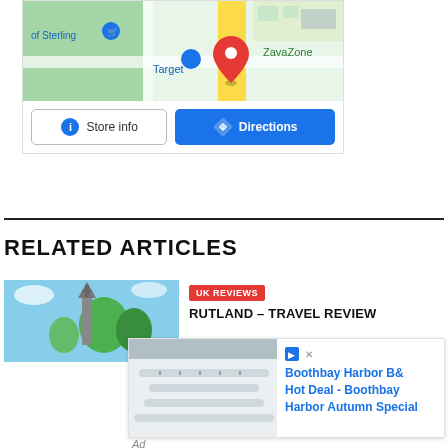[Figure (screenshot): Google Maps widget showing a map view near Sterling with Target and ZavaZone labels, a red location pin, and a yellow road. Below the map are two buttons: 'Store info' and 'Directions'.]
[Figure (screenshot): Article thumbnail image showing a church spire and trees against a blue sky.]
UK REVIEWS
RUTLAND – TRAVEL REVIEW
[Figure (photo): Advertisement photo showing a white modern building with curved balconies.]
Boothbay Harbor B& Hot Deal - Boothbay Harbor Autumn Special
Ad